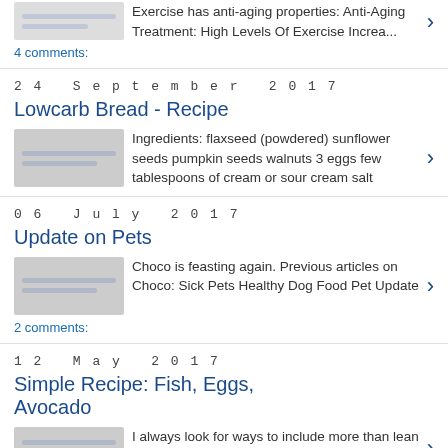Exercise has anti-aging properties: Anti-Aging Treatment: High Levels Of Exercise Increa...
4 comments:
24 September 2017
Lowcarb Bread - Recipe
Ingredients: flaxseed (powdered) sunflower seeds pumpkin seeds walnuts 3 eggs few tablespoons of cream or sour cream salt
06 July 2017
Update on Pets
Choco is feasting again. Previous articles on Choco: Sick Pets Healthy Dog Food Pet Update
2 comments:
12 May 2017
Simple Recipe: Fish, Eggs, Avocado
I always look for ways to include more than lean